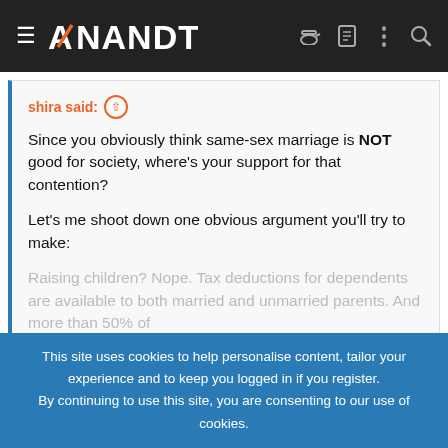AnandTech
shira said: ↑
Since you obviously think same-sex marriage is NOT good for society, where's your support for that contention?

Let's me shoot down one obvious argument you'll try to make:

Raising children? Nope. Tax deductions for dependents are available to both married and unmarried parents. And more than 50% of
Click to expand...
So your argument is that marriage has no purpose. Then we should
This site uses cookies to help personalise content, tailor your experience and to keep you logged in if you register.
By continuing to use this site, you are consenting to our use of cookies.